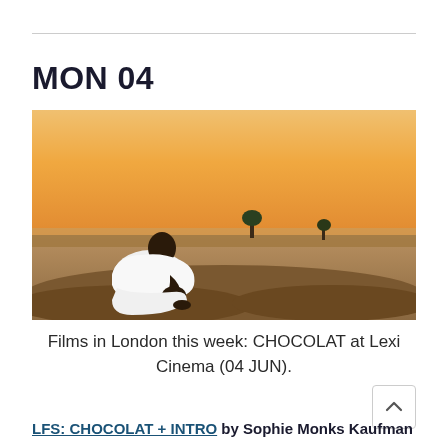MON 04
[Figure (photo): A person dressed in white traditional clothing sits on a rocky surface, viewed from behind, looking out over a vast arid landscape with sparse trees and a warm orange-yellow sunset sky.]
Films in London this week: CHOCOLAT at Lexi Cinema (04 JUN).
LFS: CHOCOLAT + INTRO by Sophie Monks Kaufman